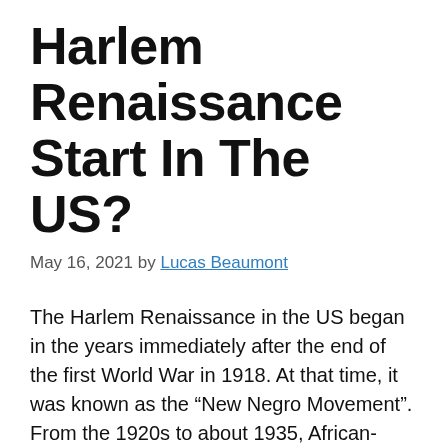Harlem Renaissance Start In The US?
May 16, 2021 by Lucas Beaumont
The Harlem Renaissance in the US began in the years immediately after the end of the first World War in 1918. At that time, it was known as the “New Negro Movement”. From the 1920s to about 1935, African-Americans in the US started to project their own thoughts through various media such as literature, music, art, drama, and sculpture, predominantly in New York. Blacks from the